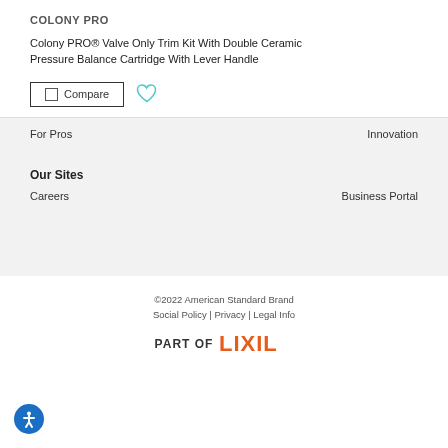COLONY PRO
Colony PRO® Valve Only Trim Kit With Double Ceramic Pressure Balance Cartridge With Lever Handle
Compare (checkbox) ♡ (heart icon)
For Pros
Innovation
Our Sites
Careers
Business Portal
©2022 American Standard Brand
Social Policy | Privacy | Legal Info
PART OF LIXIL